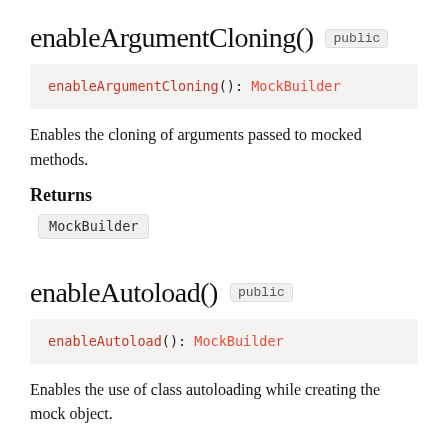enableArgumentCloning()  public
enableArgumentCloning(): MockBuilder
Enables the cloning of arguments passed to mocked methods.
Returns
MockBuilder
enableAutoload()  public
enableAutoload(): MockBuilder
Enables the use of class autoloading while creating the mock object.